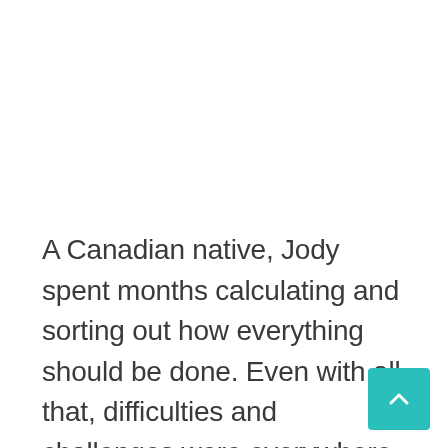A Canadian native, Jody spent months calculating and sorting out how everything should be done. Even with all that, difficulties and challenges were everywhere, including a big sandstorm that hit her and her companions during the ride. The whole journey begins in the capital city of Nouakchott and goes all way to the North West area of the country,